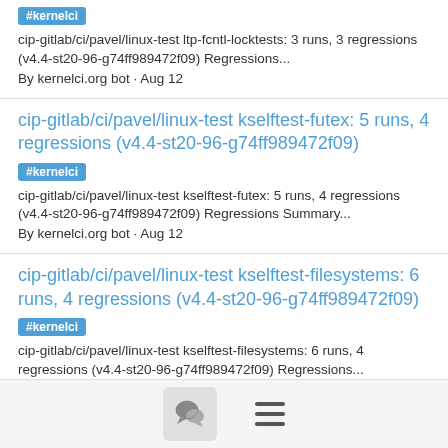#kernelci
cip-gitlab/ci/pavel/linux-test ltp-fcntl-locktests: 3 runs, 3 regressions (v4.4-st20-96-g74ff989472f09) Regressions...
By kernelci.org bot · Aug 12
cip-gitlab/ci/pavel/linux-test kselftest-futex: 5 runs, 4 regressions (v4.4-st20-96-g74ff989472f09)
#kernelci
cip-gitlab/ci/pavel/linux-test kselftest-futex: 5 runs, 4 regressions (v4.4-st20-96-g74ff989472f09) Regressions Summary...
By kernelci.org bot · Aug 12
cip-gitlab/ci/pavel/linux-test kselftest-filesystems: 6 runs, 4 regressions (v4.4-st20-96-g74ff989472f09)
#kernelci
cip-gitlab/ci/pavel/linux-test kselftest-filesystems: 6 runs, 4 regressions (v4.4-st20-96-g74ff989472f09) Regressions...
By kernelci.org bot · Aug 12
[Figure (other): Footer bar with chat bubble icon button and hamburger menu icon]